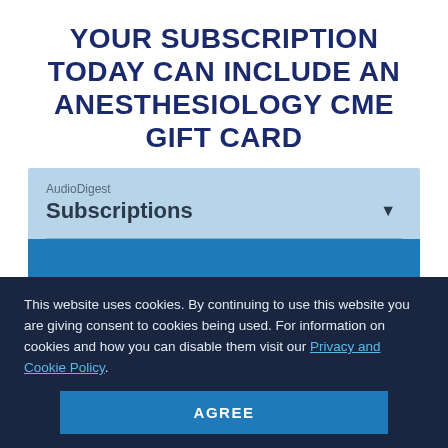YOUR SUBSCRIPTION TODAY CAN INCLUDE AN ANESTHESIOLOGY CME GIFT CARD
AudioDigest
Subscriptions
This website uses cookies. By continuing to use this website you are giving consent to cookies being used. For information on cookies and how you can disable them visit our Privacy and Cookie Policy.
AGREE